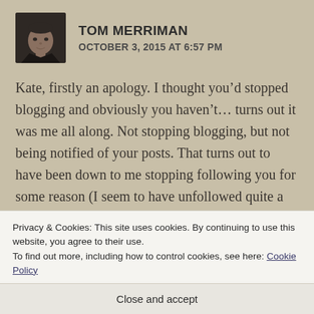[Figure (photo): Headshot photo of Tom Merriman, a man in a dark jacket against a dark background]
TOM MERRIMAN
OCTOBER 3, 2015 AT 6:57 PM
Kate, firstly an apology. I thought you'd stopped blogging and obviously you haven't… turns out it was me all along. Not stopping blogging, but not being notified of your posts. That turns out to have been down to me stopping following you for some reason (I seem to have unfollowed quite a few completely unawares… technology can do
Privacy & Cookies: This site uses cookies. By continuing to use this website, you agree to their use.
To find out more, including how to control cookies, see here: Cookie Policy
Close and accept